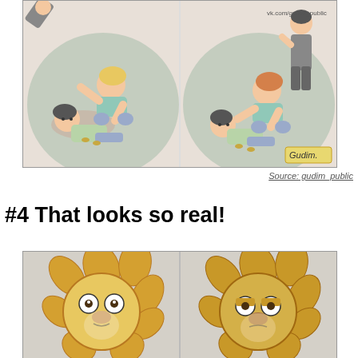[Figure (illustration): Two-panel comic illustration showing two people in a fight/wrestling scene. Left panel: one person pinning another to the ground. Right panel: similar scene with an adult figure standing above watching.]
Source: gudim_public
#4 That looks so real!
[Figure (illustration): Two-panel cartoon showing two cartoon lion faces side by side. Left lion has wide round eyes looking forward. Right lion has a more realistic/tired expression.]